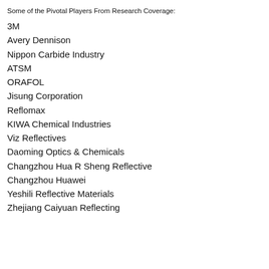Some of the Pivotal Players From Research Coverage:
3M
Avery Dennison
Nippon Carbide Industry
ATSM
ORAFOL
Jisung Corporation
Reflomax
KIWA Chemical Industries
Viz Reflectives
Daoming Optics & Chemicals
Changzhou Hua R Sheng Reflective
Changzhou Huawei
Yeshili Reflective Materials
Zhejiang Caiyuan Reflecting